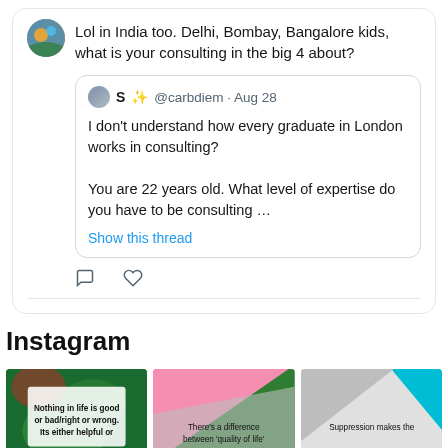[Figure (screenshot): Twitter/X post screenshot showing a tweet with text 'Lol in India too. Delhi, Bombay, Bangalore kids, what is your consulting in the big 4 about?' with a quoted tweet from @carbdiem dated Aug 28 saying 'I don't understand how every graduate in London works in consulting? You are 22 years old. What level of expertise do you have to be consulting ...' with a 'Show this thread' link and reply/like icons.]
Instagram
[Figure (screenshot): Three Instagram post thumbnails side by side. First shows text 'Nothing in life is good or bad/right or wrong. Its either helpful or' on a green/floral background. Second shows 'There's a difference between quality of life'' on a pink/green geometric background. Third shows 'Suppression makes the' on a grey/cyan geometric background.]